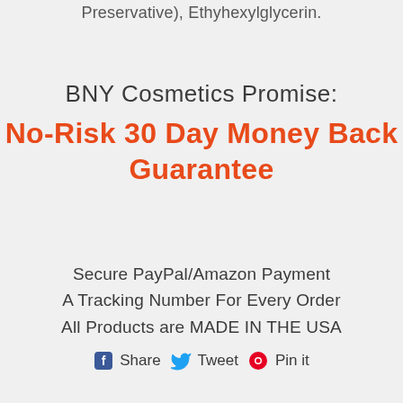Preservative), Ethyhexylglycerin.
BNY Cosmetics Promise:
No-Risk 30 Day Money Back Guarantee
Secure PayPal/Amazon Payment
A Tracking Number For Every Order
All Products are MADE IN THE USA
Share  Tweet  Pin it